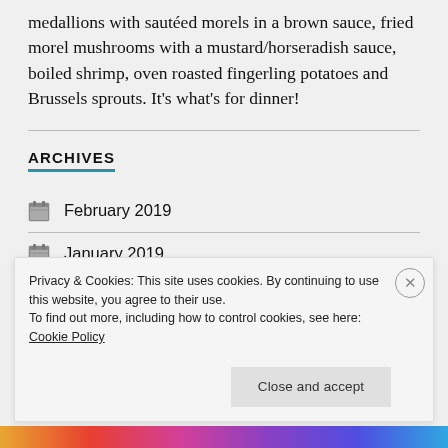medallions with sautéed morels in a brown sauce, fried morel mushrooms with a mustard/horseradish sauce, boiled shrimp, oven roasted fingerling potatoes and Brussels sprouts. It's what's for dinner!
ARCHIVES
February 2019
January 2019
May 2018
Privacy & Cookies: This site uses cookies. By continuing to use this website, you agree to their use.
To find out more, including how to control cookies, see here: Cookie Policy
Close and accept